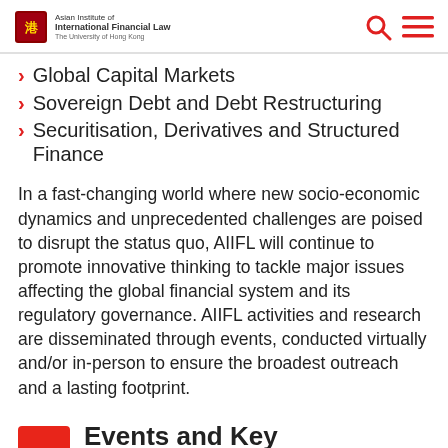Asian Institute of International Financial Law — The University of Hong Kong
Global Capital Markets
Sovereign Debt and Debt Restructuring
Securitisation, Derivatives and Structured Finance
In a fast-changing world where new socio-economic dynamics and unprecedented challenges are poised to disrupt the status quo, AIIFL will continue to promote innovative thinking to tackle major issues affecting the global financial system and its regulatory governance. AIIFL activities and research are disseminated through events, conducted virtually and/or in-person to ensure the broadest outreach and a lasting footprint.
Events and Key Publications
News